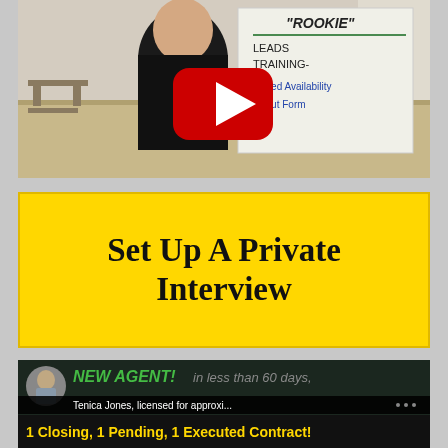[Figure (screenshot): YouTube video thumbnail showing a man in a black t-shirt standing in front of a whiteboard with 'ROOKIE' written on it along with text about leads, training, limited availability, fill out form. A red YouTube play button overlay is visible in the center.]
Set Up A Private Interview
[Figure (screenshot): Video thumbnail showing text 'NEW AGENT! in less than 60 days,' with a circular avatar photo of a man, subtitle 'Tenica Jones, licensed for approxi...' and bottom bar text '1 Closing, 1 Pending, 1 Executed Contract!']